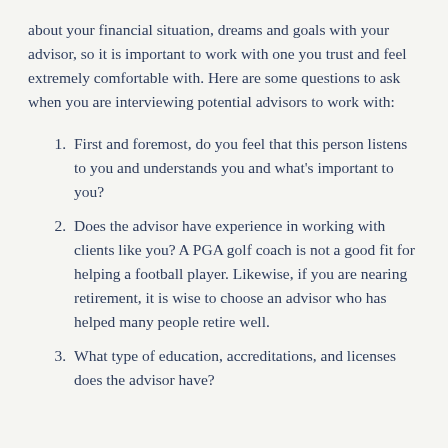about your financial situation, dreams and goals with your advisor, so it is important to work with one you trust and feel extremely comfortable with. Here are some questions to ask when you are interviewing potential advisors to work with:
First and foremost, do you feel that this person listens to you and understands you and what's important to you?
Does the advisor have experience in working with clients like you? A PGA golf coach is not a good fit for helping a football player. Likewise, if you are nearing retirement, it is wise to choose an advisor who has helped many people retire well.
What type of education, accreditations, and licenses does the advisor have?